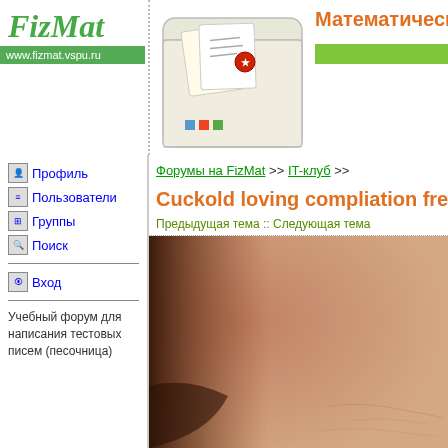[Figure (logo): FizMat logo with website URL www.fizmat.vspu.ru]
[Figure (illustration): Cartoon envelope with letter and seal icon]
Математический факу
Профиль
Пользователи
Группы
Поиск
Вход
Учебный форум для написания тестовых писем (песочница)
Форумы на FizMat >> IT-клуб >>
Cuckold loving compliation free p
Предыдущая тема :: Следующая тема
Cuckold loving compliation free porn xxx pic
[Figure (photo): Close-up photo of skin/body]